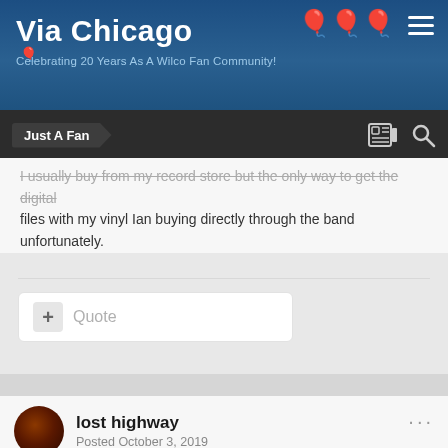Via Chicago – Celebrating 20 Years As A Wilco Fan Community!
Just A Fan
I usually buy from my record store but the only way to get the digital files with my vinyl Ian buying directly through the band unfortunately.
+ Quote
lost highway
Posted October 3, 2019
On 10/3/2019 at 11:19 AM, Madcap said:
Has anyone gotten notice that their vinyl has shipped? I was hoping it'd be a nice surprise but that clearly isn't...